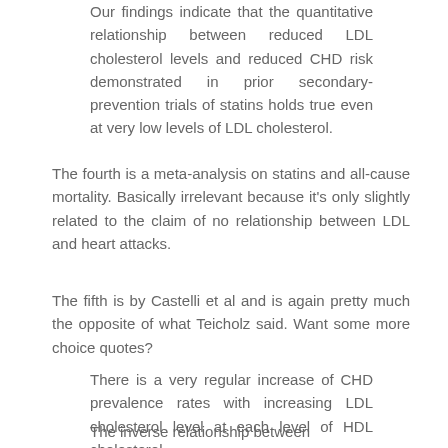Our findings indicate that the quantitative relationship between reduced LDL cholesterol levels and reduced CHD risk demonstrated in prior secondary-prevention trials of statins holds true even at very low levels of LDL cholesterol.
The fourth is a meta-analysis on statins and all-cause mortality. Basically irrelevant because it's only slightly related to the claim of no relationship between LDL and heart attacks.
The fifth is by Castelli et al and is again pretty much the opposite of what Teicholz said. Want some more choice quotes?
There is a very regular increase of CHD prevalence rates with increasing LDL cholesterol level at each level of HDL cholesterol.
The inverse relationship between